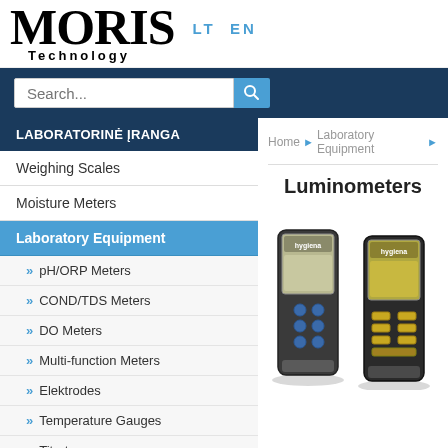MORIS Technology  LT  EN
Search...
LABORATORINĖ ĮRANGA
Weighing Scales
Moisture Meters
Laboratory Equipment
» pH/ORP Meters
» COND/TDS Meters
» DO Meters
» Multi-function Meters
» Elektrodes
» Temperature Gauges
» Titrators
Home ▶ Laboratory Equipment ▶
Luminometers
[Figure (photo): Two handheld luminometer devices (Hygiena brand) side by side, one with blue buttons and one with gold/yellow buttons]